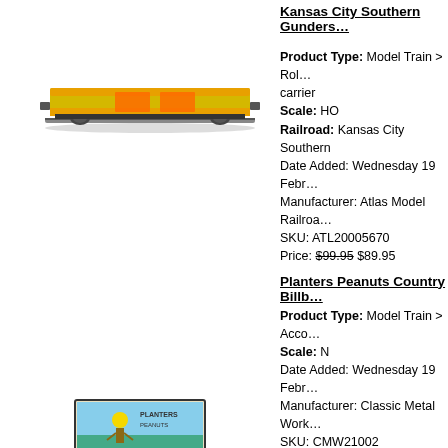[Figure (photo): Model train flatcar - Kansas City Southern Gunderson yellow/orange flatcar on track]
Kansas City Southern Gunders...
Product Type: Model Train > Rol... carrier
Scale: HO
Railroad: Kansas City Southern
Date Added: Wednesday 19 Febr...
Manufacturer: Atlas Model Railroa...
SKU: ATL20005670
Price: $99.95 $89.95
[Figure (photo): Model billboard sign - Planters Peanuts Country Billboard with colorful scene]
Planters Peanuts Country Billb...
Product Type: Model Train > Acco...
Scale: N
Date Added: Wednesday 19 Febr...
Manufacturer: Classic Metal Work...
SKU: CMW21002
Price: $11.95 $10.75
HO Plastic Stakes 40'/50' Flat C...
Product Type: Model Train > Rol... parts
Scale: HO
Date Added: Wednesday 19 Febr...
Manufacturer: Athearn
SKU: ATH13504
Price: $9.98
HO Unitrack Rerailer/Unijoiner N...
Product Type: Model Train > Tra...